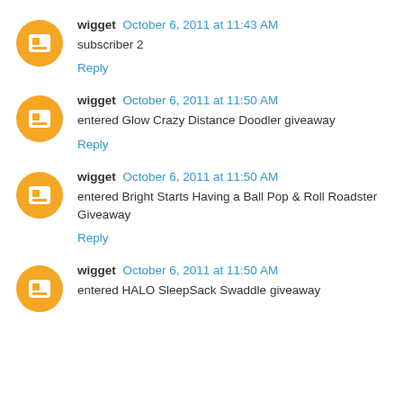wigget October 6, 2011 at 11:43 AM
subscriber 2
Reply
wigget October 6, 2011 at 11:50 AM
entered Glow Crazy Distance Doodler giveaway
Reply
wigget October 6, 2011 at 11:50 AM
entered Bright Starts Having a Ball Pop & Roll Roadster Giveaway
Reply
wigget October 6, 2011 at 11:50 AM
entered HALO SleepSack Swaddle giveaway